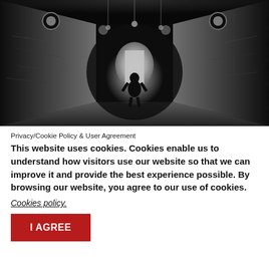[Figure (photo): Black and white photograph of a dark tunnel with a silhouetted figure walking toward a bright light at the end. The tunnel has brick walls with graffiti, ceiling lights, and the overall atmosphere is moody and dramatic.]
Privacy/Cookie Policy & User Agreement
This website uses cookies. Cookies enable us to understand how visitors use our website so that we can improve it and provide the best experience possible. By browsing our website, you agree to our use of cookies.
Cookies policy.
I AGREE